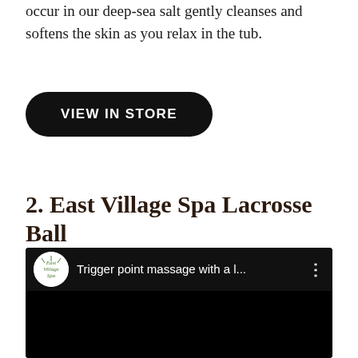occur in our deep-sea salt gently cleanses and softens the skin as you relax in the tub.
VIEW IN STORE
2. East Village Spa Lacrosse Ball
[Figure (screenshot): YouTube-style video embed showing East Village Spa channel logo and title 'Trigger point massage with a l...' with menu dots on a dark background]